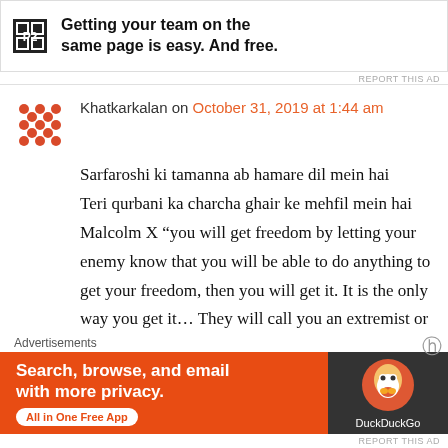[Figure (other): P2 advertisement banner: logo showing 'P2' in a black square, with bold text 'Getting your team on the same page is easy. And free.']
REPORT THIS AD
Khatkarkalan on October 31, 2019 at 1:44 am
Sarfaroshi ki tamanna ab hamare dil mein hai Teri qurbani ka charcha ghair ke mehfil mein hai Malcolm X “you will get freedom by letting your enemy know that you will be able to do anything to get your freedom, then you will get it. It is the only way you get it… They will call you an extremist or a subversive or seditious or a red or radical. But when you stay radical long enough and get enough people to be like you, you will
Advertisements
[Figure (other): DuckDuckGo advertisement: orange background with text 'Search, browse, and email with more privacy. All in One Free App' and DuckDuckGo logo on dark right panel.]